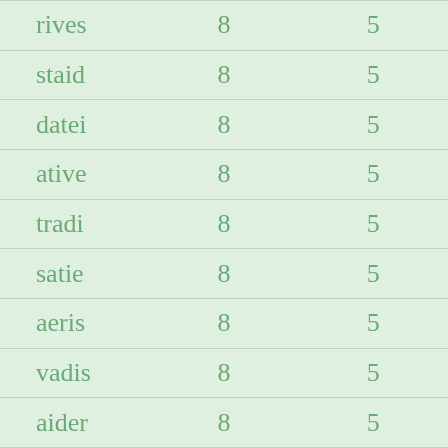| rives | 8 | 5 |
| staid | 8 | 5 |
| datei | 8 | 5 |
| ative | 8 | 5 |
| tradi | 8 | 5 |
| satie | 8 | 5 |
| aeris | 8 | 5 |
| vadis | 8 | 5 |
| aider | 8 | 5 |